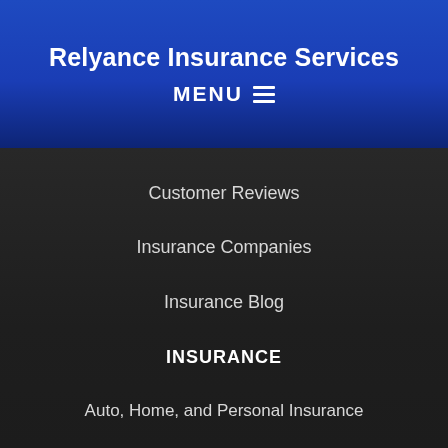Relyance Insurance Services
MENU ≡
Customer Reviews
Insurance Companies
Insurance Blog
INSURANCE
Auto, Home, and Personal Insurance